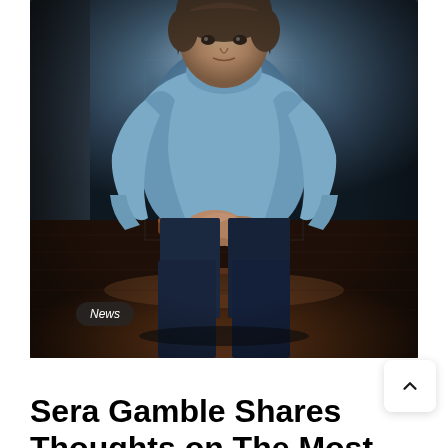[Figure (photo): A man with medium-length hair sits on a wooden stool in a dimly lit room with hardwood floors. He is wearing a blue/grey textured turtleneck sweater and dark navy trousers, with his hands clasped together resting on his knees. The lighting is moody and cinematic. A 'News' badge appears in the lower left corner of the image.]
Sera Gamble Shares Thoughts on The Most...